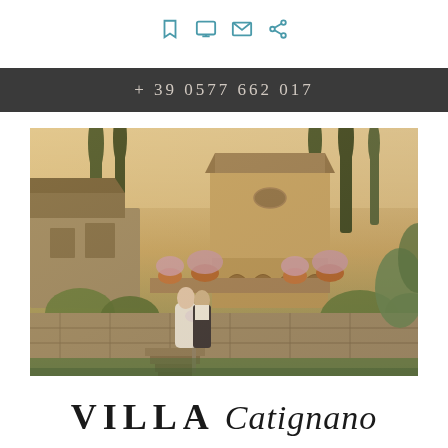[Figure (other): Four icons in a row: bookmark, monitor, envelope, share — in teal/cyan color]
+ 39 0577 662 017
[Figure (photo): Wedding couple kissing on steps of Villa Catignano, a historic Italian villa in Tuscany. Stone buildings, arched loggia, cypress trees, lush gardens in warm golden afternoon light.]
VILLA Catignano